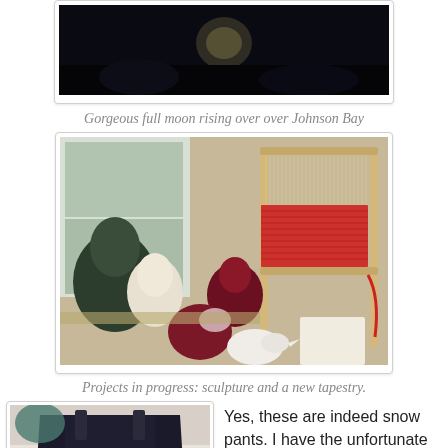[Figure (photo): Dark night sky photo showing a full moon rising over Johnson Bay, image partially cropped at top]
Gorgeous full moon rising over over Johnson Bay
[Figure (photo): Photo of art projects in progress: ceramic sculptures (dark green, white, and dark red rounded forms) on a table beside a wooden loom with red weaving in progress]
Projects in progress: sculpture and a new tapestry.
[Figure (photo): Photo of snow pants laid flat on a surface, partially cropped at bottom of page]
Yes, these are indeed snow pants. I have the unfortunate fate of being a